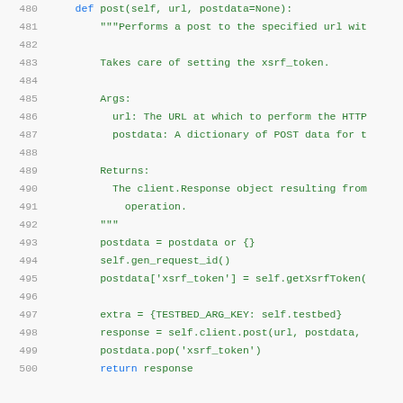Code listing lines 480-500 showing a Python post method with docstring and implementation